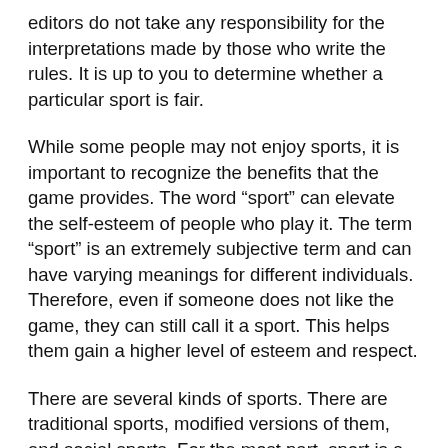editors do not take any responsibility for the interpretations made by those who write the rules. It is up to you to determine whether a particular sport is fair.
While some people may not enjoy sports, it is important to recognize the benefits that the game provides. The word “sport” can elevate the self-esteem of people who play it. The term “sport” is an extremely subjective term and can have varying meanings for different individuals. Therefore, even if someone does not like the game, they can still call it a sport. This helps them gain a higher level of esteem and respect.
There are several kinds of sports. There are traditional sports, modified versions of them, and social sports. For the most part, sport is a human activity with various motives. In addition, the term “sport” has multiple meanings, depending on the origins of the individual. In many cultures, a sport is a type of activity that has been governed by rules. But it is not only the game itself that matters. A person can participate in different kinds